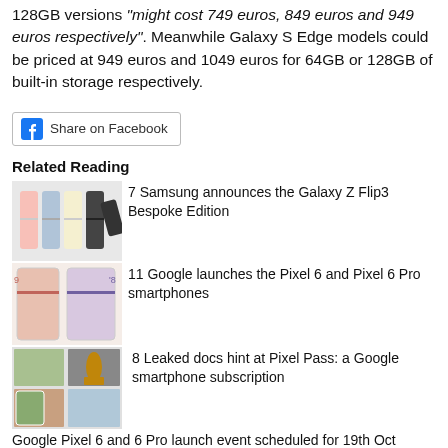128GB versions "might cost 749 euros, 849 euros and 949 euros respectively". Meanwhile Galaxy S Edge models could be priced at 949 euros and 1049 euros for 64GB or 128GB of built-in storage respectively.
[Figure (other): Facebook Share on Facebook button]
Related Reading
[Figure (photo): Samsung Galaxy Z Flip3 Bespoke Edition phones in multiple colors]
7 Samsung announces the Galaxy Z Flip3 Bespoke Edition
[Figure (photo): Google Pixel 6 and Pixel 6 Pro smartphones promotional image]
11 Google launches the Pixel 6 and Pixel 6 Pro smartphones
[Figure (photo): Pixel Pass Google smartphone subscription image]
8 Leaked docs hint at Pixel Pass: a Google smartphone subscription
Google Pixel 6 and 6 Pro launch event scheduled for 19th Oct Microsoft Surface Pro 8, Pro X, and Go 3 revealed G.Skill Trident Z (RGB) 32GB memory kits announced Samsung Odyssey G5 S32AG52 gaming monitor